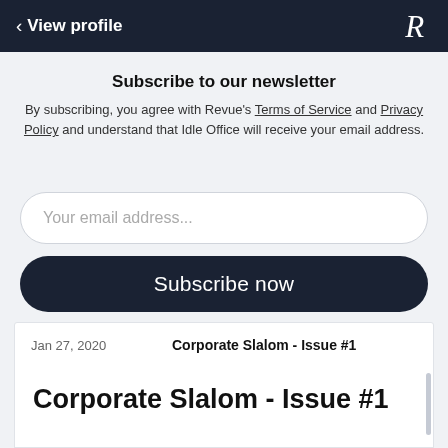< View profile
Subscribe to our newsletter
By subscribing, you agree with Revue's Terms of Service and Privacy Policy and understand that Idle Office will receive your email address.
Your email address...
Subscribe now
| Date | Issue |
| --- | --- |
| Jan 27, 2020 | Corporate Slalom - Issue #1 |
Corporate Slalom - Issue #1